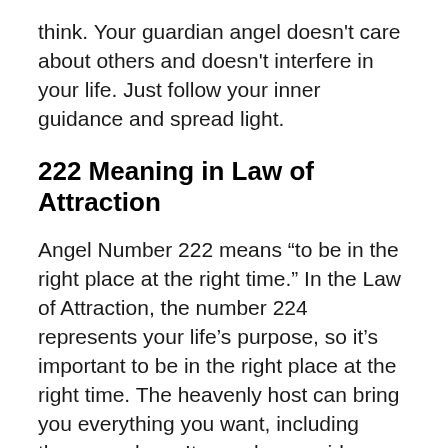think. Your guardian angel doesn't care about others and doesn't interfere in your life. Just follow your inner guidance and spread light.
222 Meaning in Law of Attraction
Angel Number 222 means “to be in the right place at the right time.” In the Law of Attraction, the number 224 represents your life’s purpose, so it’s important to be in the right place at the right time. The heavenly host can bring you everything you want, including those you love. It can also provide you with the guidance you need. But if you’re not sure what it means, you can always consult with numerology for a more accurate interpretation.